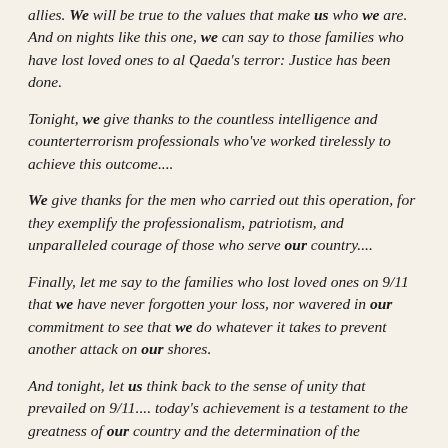allies. We will be true to the values that make us who we are. And on nights like this one, we can say to those families who have lost loved ones to al Qaeda's terror: Justice has been done.
Tonight, we give thanks to the countless intelligence and counterterrorism professionals who've worked tirelessly to achieve this outcome....
We give thanks for the men who carried out this operation, for they exemplify the professionalism, patriotism, and unparalleled courage of those who serve our country....
Finally, let me say to the families who lost loved ones on 9/11 that we have never forgotten your loss, nor wavered in our commitment to see that we do whatever it takes to prevent another attack on our shores.
And tonight, let us think back to the sense of unity that prevailed on 9/11.... today's achievement is a testament to the greatness of our country and the determination of the American people.
tonight, we are once again reminded that America can do